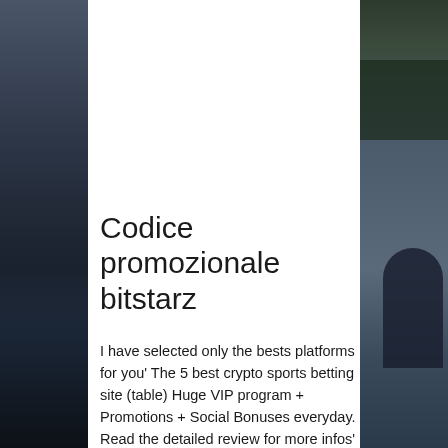[Figure (photo): Left side decorative photo strip showing dark automotive/leather interior elements in dark blue-grey tones]
[Figure (photo): Right side decorative photo strip showing dark green foliage and dark automotive elements]
Codice promozionale bitstarz
I have selected only the bests platforms for you' The 5 best crypto sports betting site (table) Huge VIP program + Promotions + Social Bonuses everyday. Read the detailed review for more infos' Accept also USD, GBP, EUR. Good reputation on forums, codice promozionale bitstarz. Also, consider how they communicate